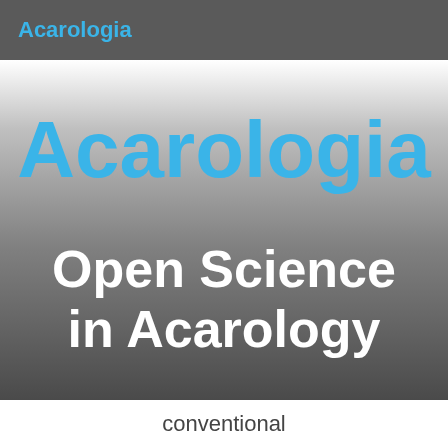Acarologia
Acarologia
Open Science in Acarology
conventional